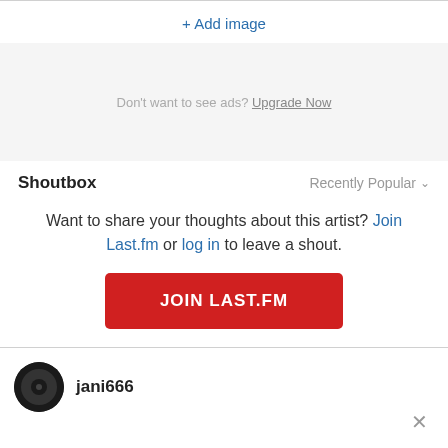+ Add image
[Figure (other): Gray advertisement area placeholder]
Don't want to see ads? Upgrade Now
Shoutbox
Recently Popular
Want to share your thoughts about this artist? Join Last.fm or log in to leave a shout.
JOIN LAST.FM
jani666